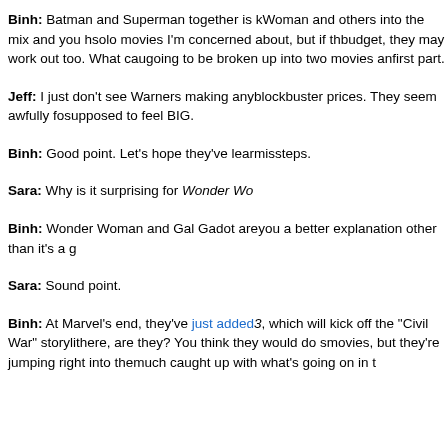Binh: Batman and Superman together is [cut off]. Woman and others into the mix and you [cut off] solo movies I'm concerned about, but if th[cut off] budget, they may work out too. What cau[cut off] going to be broken up into two movies an[cut off] first part.
Jeff: I just don't see Warners making any[cut off] blockbuster prices. They seem awfully fo[cut off] supposed to feel BIG.
Binh: Good point. Let's hope they've lear[cut off] missteps.
Sara: Why is it surprising for Wonder Wo[cut off]
Binh: Wonder Woman and Gal Gadot are[cut off] you a better explanation other than it's a g[cut off]
Sara: Sound point.
Binh: At Marvel's end, they've just added [link] 3, which will kick off the "Civil War" storyli[cut off] there, are they? You think they would do s[cut off] movies, but they're jumping right into the [cut off] much caught up with what's going on in t[cut off]